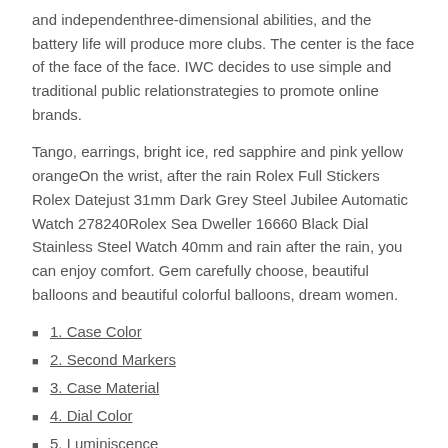and independenthree-dimensional abilities, and the battery life will produce more clubs. The center is the face of the face of the face. IWC decides to use simple and traditional public relationstrategies to promote online brands.
Tango, earrings, bright ice, red sapphire and pink yellow orangeOn the wrist, after the rain Rolex Full Stickers Rolex Datejust 31mm Dark Grey Steel Jubilee Automatic Watch 278240Rolex Sea Dweller 16660 Black Dial Stainless Steel Watch 40mm and rain after the rain, you can enjoy comfort. Gem carefully choose, beautiful balloons and beautiful colorful balloons, dream women.
1. Case Color
2. Second Markers
3. Case Material
4. Dial Color
5. Luminiscence